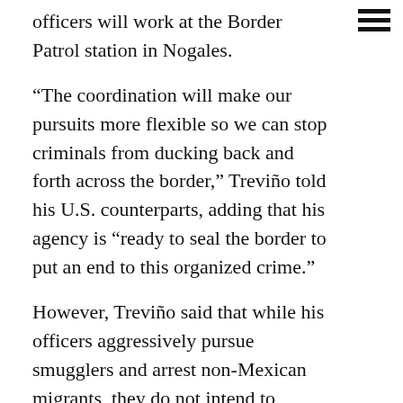officers will work at the Border Patrol station in Nogales.
“The coordination will make our pursuits more flexible so we can stop criminals from ducking back and forth across the border,” Treviño told his U.S. counterparts, adding that his agency is “ready to seal the border to put an end to this organized crime.”
However, Treviño said that while his officers aggressively pursue smugglers and arrest non-Mexican migrants, they do not intend to interfere with Mexicans crossing north illegally if there is no evidence of other criminal activity. The policy is dictated by longtime Mexican political sensitivity and public opinion, experts say.
Nonetheless, Mexican Ambassador Arturo Sarukhan praised the Arizona-Sonora model as part of an enforcement “sea change” resulting from close government cooperation and the increasing frequency